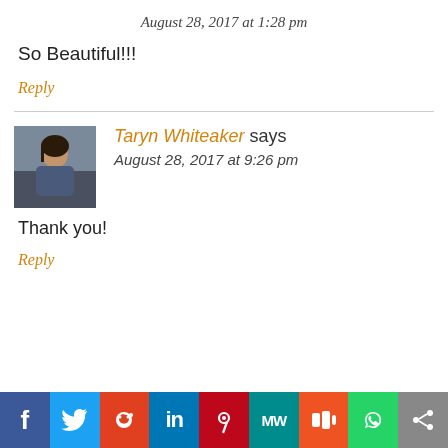August 28, 2017 at 1:28 pm
So Beautiful!!!
Reply
[Figure (photo): Avatar photo of Taryn Whiteaker]
Taryn Whiteaker says
August 28, 2017 at 9:26 pm
Thank you!
Reply